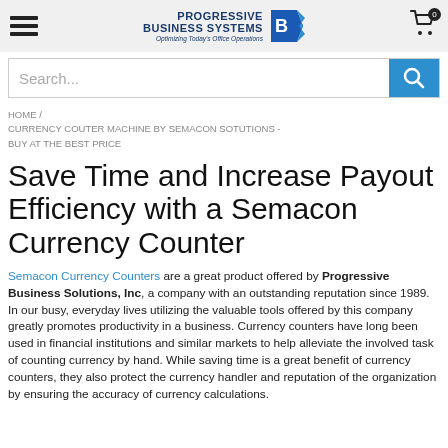Progressive Business Systems — Optimizing Today's Office Operations
Search...
HOME / CURRENCY COUTER MACHINE BY SEMACON SOTUTIONS - BUY AT THE BEST PRICE
Save Time and Increase Payout Efficiency with a Semacon Currency Counter
Semacon Currency Counters are a great product offered by Progressive Business Solutions, Inc, a company with an outstanding reputation since 1989. In our busy, everyday lives utilizing the valuable tools offered by this company greatly promotes productivity in a business. Currency counters have long been used in financial institutions and similar markets to help alleviate the involved task of counting currency by hand. While saving time is a great benefit of currency counters, they also protect the currency handler and reputation of the organization by ensuring the accuracy of currency calculations.